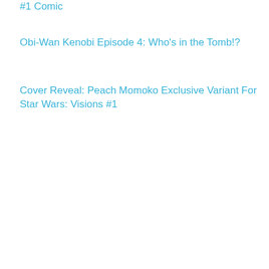#1 Comic
Obi-Wan Kenobi Episode 4: Who's in the Tomb!?
Cover Reveal: Peach Momoko Exclusive Variant For Star Wars: Visions #1